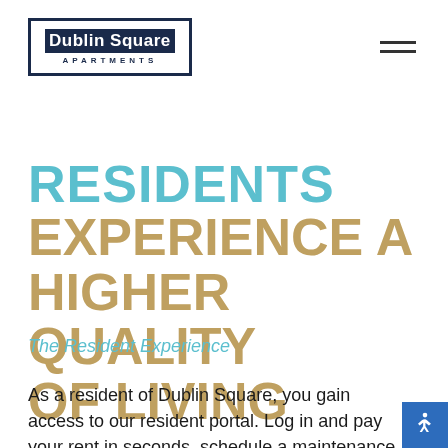[Figure (logo): Dublin Square Apartments logo — dark navy rectangular border with 'Dublin Square' in white on dark navy background and 'APARTMENTS' in navy spaced letters below]
RESIDENTS EXPERIENCE A HIGHER QUALITY OF LIVING
The Resident Experience
As a resident of Dublin Square, you gain access to our resident portal. Log in and pay your rent in seconds, schedule a maintenance request, or contact our office